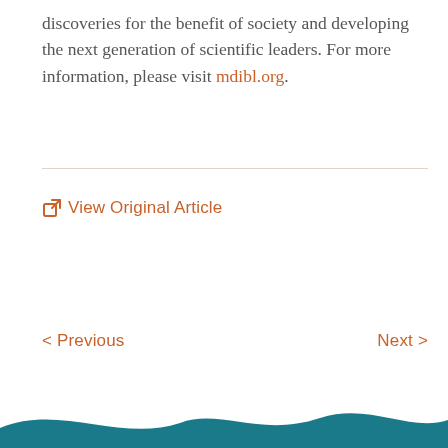discoveries for the benefit of society and developing the next generation of scientific leaders. For more information, please visit mdibl.org.
View Original Article
< Previous
Next >